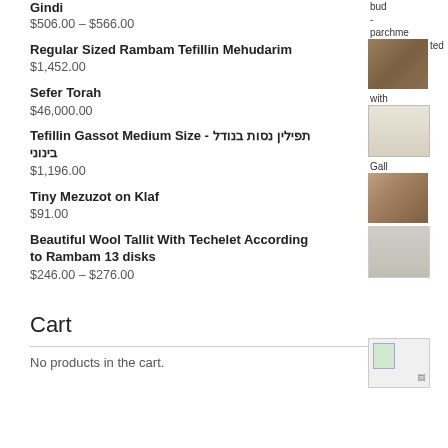Gindi
$506.00 – $566.00
Regular Sized Rambam Tefillin Mehudarim
$1,452.00
Sefer Torah
$46,000.00
Tefillin Gassot Medium Size - תפילין נסות בנודל בינוני
$1,196.00
Tiny Mezuzot on Klaf
$91.00
Beautiful Wool Tallit With Techelet According to Rambam 13 disks
$246.00 – $276.00
Cart
No products in the cart.